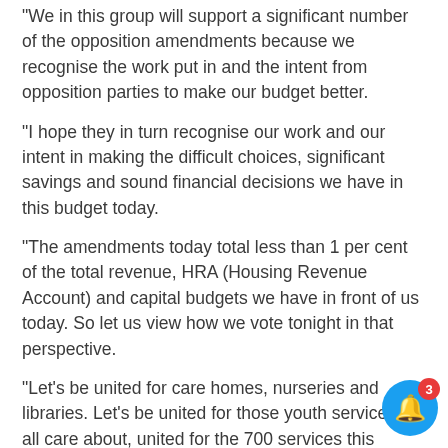We in this group will support a significant number of the opposition amendments because we recognise the work put in and the intent from opposition parties to make our budget better.
“I hope they in turn recognise our work and our intent in making the difficult choices, significant savings and sound financial decisions we have in this budget today.
“The amendments today total less than 1 per cent of the total revenue, HRA (Housing Revenue Account) and capital budgets we have in front of us today. So let us view how we vote tonight in that perspective.
“Let’s be united for care homes, nurseries and libraries. Let’s be united for those youth services we all care about, united for the 700 services this council provides for the people of this city, from the simplest cleaning to the most complex legal social care case.